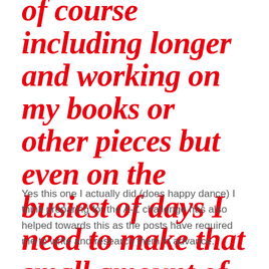of course including longer and working on my books or other pieces but even on the busiest of days I need to make that small amount of time count.
Yes this one I actually did (does happy dance) I think preparing for the A-Z challenge has also helped towards this as the posts have required me to write and research them in advance.